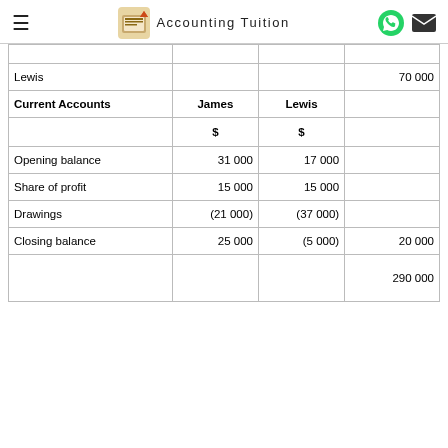Accounting Tuition
|  | James | Lewis |  |
| --- | --- | --- | --- |
| Lewis |  |  | 70 000 |
| Current Accounts | James | Lewis |  |
|  | $ | $ |  |
| Opening balance | 31 000 | 17 000 |  |
| Share of profit | 15 000 | 15 000 |  |
| Drawings | (21 000) | (37 000) |  |
| Closing balance | 25 000 | (5 000) | 20 000 |
|  |  |  | 290 000 |